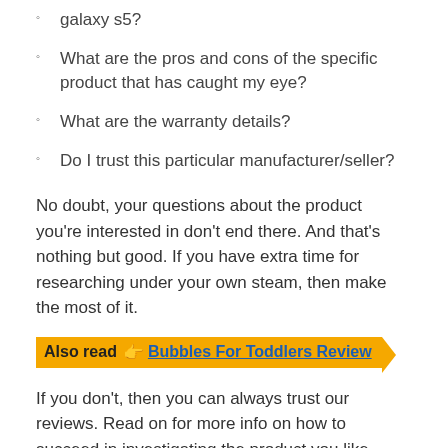galaxy s5?
What are the pros and cons of the specific product that has caught my eye?
What are the warranty details?
Do I trust this particular manufacturer/seller?
No doubt, your questions about the product you’re interested in don’t end there. And that’s nothing but good. If you have extra time for researching under your own steam, then make the most of it.
Also read 👉 Bubbles For Toddlers Review
If you don’t, then you can always trust our reviews. Read on for more info on how to succeed in investigating the product you like, without any extra assistance.